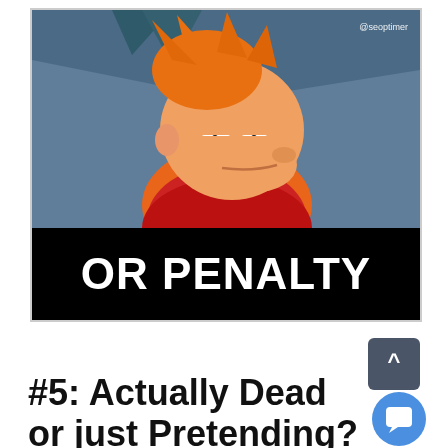[Figure (illustration): Futurama meme image: top half shows Fry character squinting with orange hair against blue background, with '@seoptimer' watermark in top right. Bottom half is black bar with white bold text 'OR PENALTY'.]
#5: Actually Dead or just Pretending?